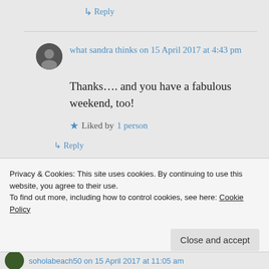↳ Reply
what sandra thinks on 15 April 2017 at 4:43 pm
Thanks…. and you have a fabulous weekend, too!
★ Liked by 1 person
↳ Reply
Privacy & Cookies: This site uses cookies. By continuing to use this website, you agree to their use. To find out more, including how to control cookies, see here: Cookie Policy
Close and accept
soholabeach50 on 15 April 2017 at 11:05 am